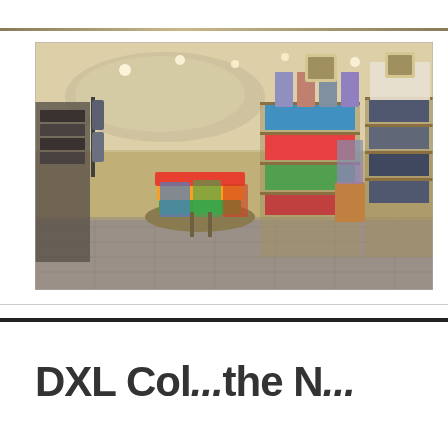[Figure (photo): Interior of a clothing retail store showing shelves and displays with folded and hanging garments, polo shirts, jeans, and casual wear arranged on wooden fixtures with warm lighting and a curved ceiling feature.]
DXL Salep...the N...